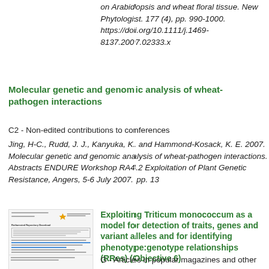on Arabidopsis and wheat floral tissue. New Phytologist. 177 (4), pp. 990-1000. https://doi.org/10.1111/j.1469-8137.2007.02333.x
Molecular genetic and genomic analysis of wheat-pathogen interactions
C2 - Non-edited contributions to conferences
Jing, H-C., Rudd, J. J., Kanyuka, K. and Hammond-Kosack, K. E. 2007. Molecular genetic and genomic analysis of wheat-pathogen interactions. Abstracts ENDURE Workshop RA4.2 Exploitation of Plant Genetic Resistance, Angers, 5-6 July 2007. pp. 13
[Figure (screenshot): Thumbnail image of a document page showing a report with text and blue highlighted lines]
Exploiting Triticum monococcum as a model for detection of traits, genes and variant alleles and for identifying phenotype:genotype relationships (RRes) (Objective 6)
[Figure (screenshot): Thumbnail image of a document page (partial, bottom strip)]
G - Articles in popular magazines and other